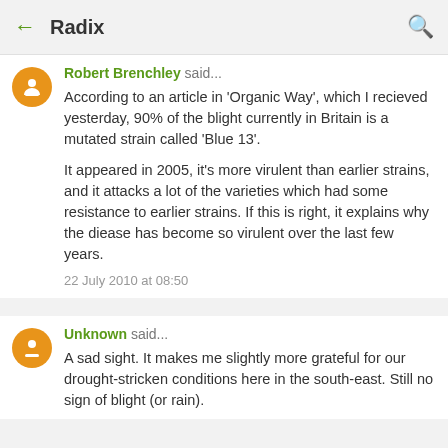Radix
Robert Brenchley said...
According to an article in 'Organic Way', which I recieved yesterday, 90% of the blight currently in Britain is a mutated strain called 'Blue 13'.

It appeared in 2005, it's more virulent than earlier strains, and it attacks a lot of the varieties which had some resistance to earlier strains. If this is right, it explains why the diease has become so virulent over the last few years.

22 July 2010 at 08:50
Unknown said...
A sad sight. It makes me slightly more grateful for our drought-stricken conditions here in the south-east. Still no sign of blight (or rain).